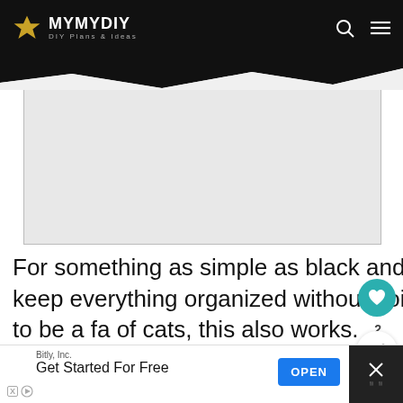MYMYDIY DIY Plans & Ideas
[Figure (screenshot): Gray advertisement placeholder box]
For something as simple as black and white, this is also a good way to keep everything organized without going overboard. If you also happen to be a fan of cats, this also works.
3. Bundled
[Figure (infographic): What's Next callout: 21+ Friggin' Sweet Small...]